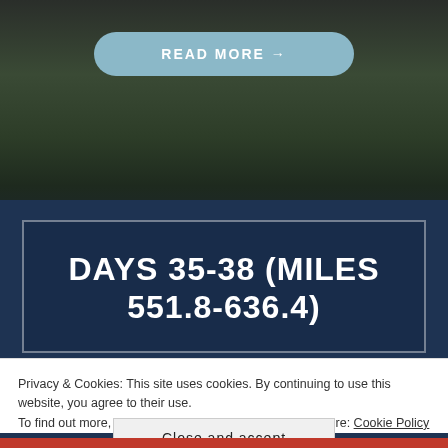[Figure (photo): Dark landscape hero image with mountainous terrain and trees, dark blue-green tones]
READ MORE →
DAYS 35-38 (MILES 551.8-636.4)
Privacy & Cookies: This site uses cookies. By continuing to use this website, you agree to their use.
To find out more, including how to control cookies, see here: Cookie Policy
Close and accept